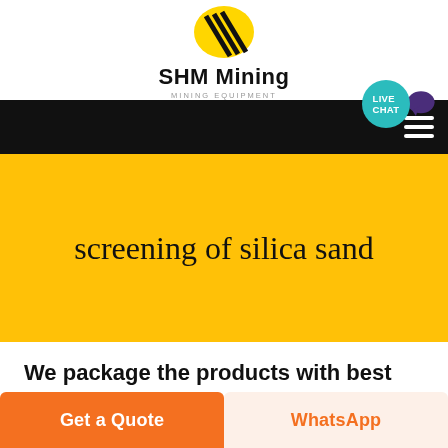[Figure (logo): SHM Mining logo with yellow circle and black diagonal stripes, company name SHM Mining and tagline MINING EQUIPMENT]
SHM Mining MINING EQUIPMENT
screening of silica sand
We package the products with best